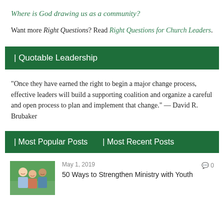Where is God drawing us as a community?
Want more Right Questions? Read Right Questions for Church Leaders.
| Quotable Leadership
“Once they have earned the right to begin a major change process, effective leaders will build a supporting coalition and organize a careful and open process to plan and implement that change.” — David R. Brubaker
| Most Popular Posts    | Most Recent Posts
[Figure (photo): Photo of three smiling young adults (two men and one woman) outdoors]
May 1, 2019   0
50 Ways to Strengthen Ministry with Youth